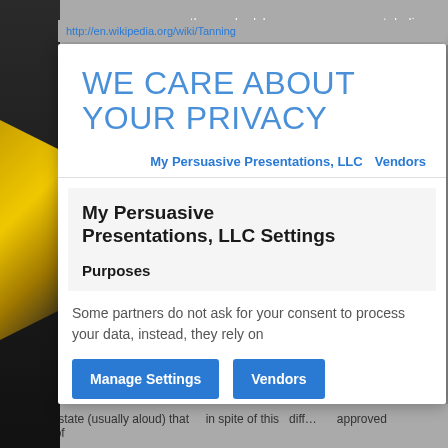the body's energy metabolism http://en.wikipedia.org/wiki/Tanning
WE CARE ABOUT YOUR PRIVACY
My Persuasive Presentations, LLC   Vendors
My Persuasive Presentations, LLC Settings
Purposes
Some partners do not ask for your consent to process your data, instead, they rely on
Manage Settings   Vendors
You then state (usually aloud) that in spite of this diff… approved… approve of